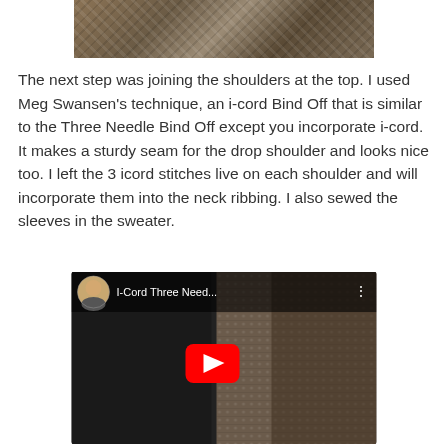[Figure (photo): Partial top image showing a knitted/woven textile item with black and white pattern on a wooden surface, cropped at top]
The next step was joining the shoulders at the top.  I used Meg Swansen's technique, an i-cord Bind Off that is similar to the Three Needle Bind Off except you incorporate i-cord.  It makes a sturdy seam for the drop shoulder and looks nice too.  I left the 3 icord stitches live on each shoulder and will incorporate them into the neck ribbing.  I also sewed the sleeves in the sweater.
[Figure (screenshot): YouTube video thumbnail showing 'I-Cord Three Need...' with a person working on a black and white patterned knitting project on a wooden table. Red YouTube play button in center. Small circular avatar of a person with glasses in the top left corner.]